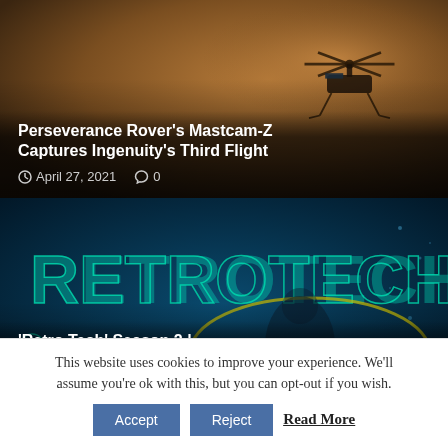[Figure (photo): Photo of a Mars helicopter (Ingenuity) against a hazy brownish-orange Martian sky background]
Perseverance Rover's Mastcam-Z Captures Ingenuity's Third Flight
April 27, 2021  0
[Figure (photo): Promotional image for 'Retro Tech' Season 2 showing RETROTECH text in teal letters on a dark blue background with a person visible]
'Retro Tech' Season 2 | Hyperconnectivity
April 16, 2021  0
This website uses cookies to improve your experience. We'll assume you're ok with this, but you can opt-out if you wish.